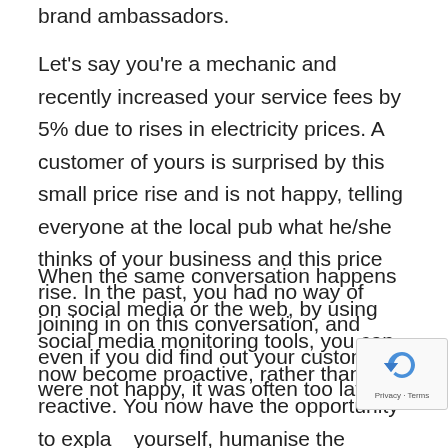brand ambassadors.
Let's say you're a mechanic and recently increased your service fees by 5% due to rises in electricity prices. A customer of yours is surprised by this small price rise and is not happy, telling everyone at the local pub what he/she thinks of your business and this price rise. In the past, you had no way of joining in on this conversation, and even if you did find out your customers were not happy, it was often too late.
When the same conversation happens on social media or the web, by using social media monitoring tools, you can now become proactive, rather than reactive. You now have the opportunity to explain yourself, humanise the situation and add value. You might talk about why you increased your fees or the